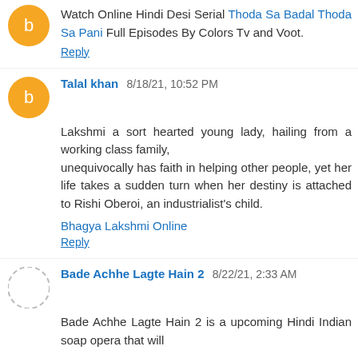Watch Online Hindi Desi Serial Thoda Sa Badal Thoda Sa Pani Full Episodes By Colors Tv and Voot.
Reply
Talal khan  8/18/21, 10:52 PM
Lakshmi a sort hearted young lady, hailing from a working class family,
unequivocally has faith in helping other people, yet her life takes a sudden turn when her destiny is attached to Rishi Oberoi, an industrialist's child.
Bhagya Lakshmi Online
Reply
Bade Achhe Lagte Hain 2  8/22/21, 2:33 AM
Bade Achhe Lagte Hain 2 is a upcoming Hindi Indian soap opera that will